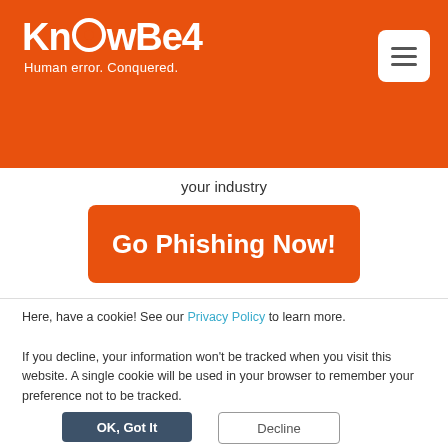[Figure (logo): KnowBe4 logo with orange background, white text and tagline 'Human error. Conquered.']
your industry
Go Phishing Now!
Here, have a cookie! See our Privacy Policy to learn more.
If you decline, your information won't be tracked when you visit this website. A single cookie will be used in your browser to remember your preference not to be tracked.
OK, Got It
Decline